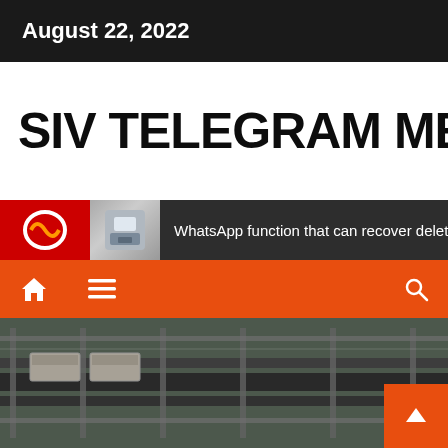August 22, 2022
SIV TELEGRAM MEDIA
WhatsApp function that can recover deleted m
[Figure (screenshot): Navigation bar with home icon, hamburger menu, and search icon on orange background]
[Figure (photo): Conveyor belt machinery photo, industrial equipment with metal frames and boxes]